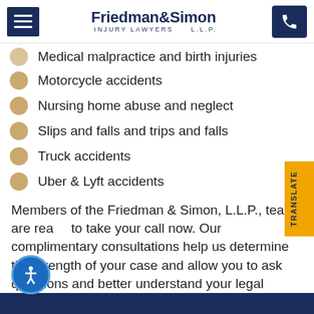Friedman & Simon INJURY LAWYERS L.L.P.
Medical malpractice and birth injuries
Motorcycle accidents
Nursing home abuse and neglect
Slips and falls and trips and falls
Truck accidents
Uber & Lyft accidents
Members of the Friedman & Simon, L.L.P., team are ready to take your call now. Our complimentary consultations help us determine the strength of your case and allow you to ask questions and better understand your legal options.